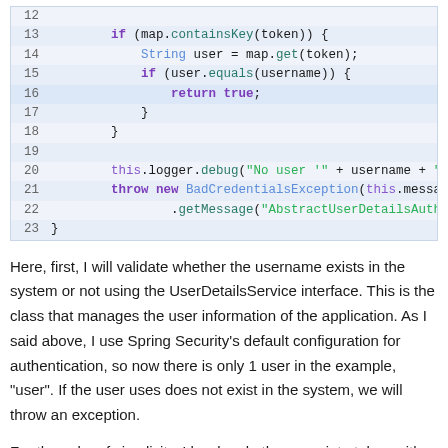[Figure (screenshot): Code snippet showing Java authentication logic lines 12-23, with syntax highlighting. Shows if-block checking map.containsKey(token), getting user, comparing with username, returning true, and throwing BadCredentialsException.]
Here, first, I will validate whether the username exists in the system or not using the UserDetailsService interface. This is the class that manages the user information of the application. As I said above, I use Spring Security's default configuration for authentication, so now there is only 1 user in the example, "user". If the user uses does not exist in the system, we will throw an exception.
For the sake of simplicity, I hard code the associate token with